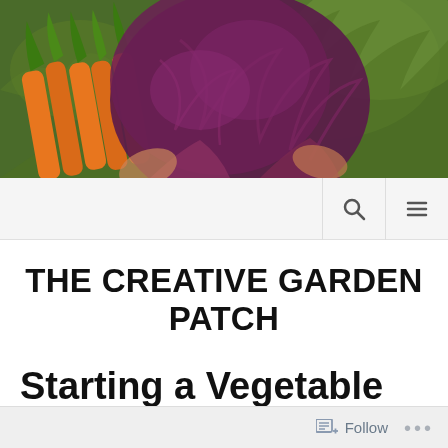[Figure (photo): Hero image of fresh vegetables including orange carrots and dark purple/red leafy greens (likely red cabbage or red chard) with green herbs in the background]
THE CREATIVE GARDEN PATCH
Starting a Vegetable Garden?
Follow